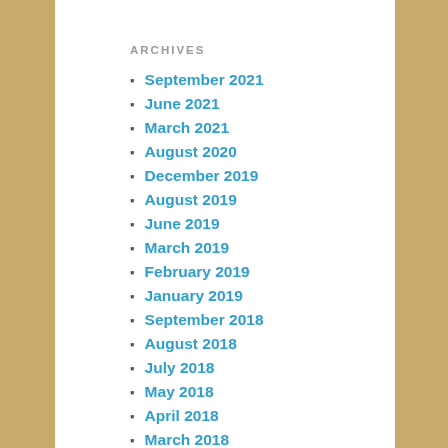ARCHIVES
September 2021
June 2021
March 2021
August 2020
December 2019
August 2019
June 2019
March 2019
February 2019
January 2019
September 2018
August 2018
July 2018
May 2018
April 2018
March 2018
December 2017
October 2017
September 2017